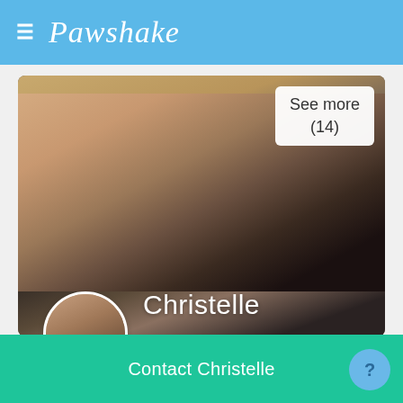≡ Pawshake
[Figure (photo): Photo of a young woman with dark hair and teal earring, posing closely with a golden retriever dog. A white overlay box in the upper right reads 'See more (14)'. The name 'Christelle' is displayed in white text at the bottom of the photo.]
Your pet's favorite friend
Contact Christelle